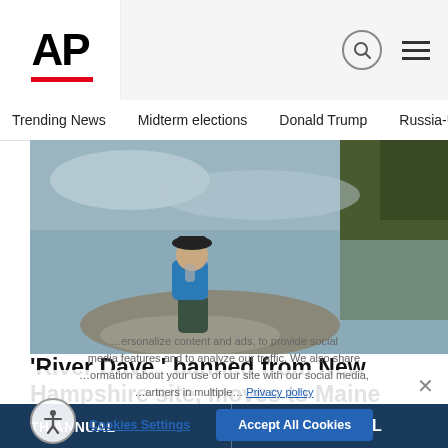AP
Trending News   Midterm elections   Donald Trump   Russia-Ukr
[Figure (photo): An elderly man wearing a blue shirt and dark hat sits on a rock at the edge of a lake or river, with tree reflections visible in the water behind him.]
'River Dave,' banned from New Hampshire site, moves to Maine
CONCORD, N.H. (AP) — A hermit known as River Dave — cabin in the New Hampshire woods burned down after…
AP  3 days ago
Cookies Settings  Accept All Cookies
TH ANNUAL   15TH ANNUAL